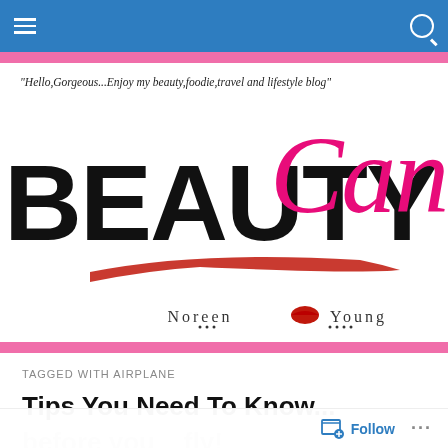Navigation bar with hamburger menu and search icon
"Hello,Gorgeous...Enjoy my beauty,foodie,travel and lifestyle blog"
[Figure (logo): Beauty Candy blog logo with 'BEAUTY' in large black serif text and 'Candy' in pink script, a red lipstick brush stroke underneath, and 'Noreen Young' signature with a red lip icon]
TAGGED WITH AIRPLANE
Tips You Need To Know...
before you   fly!